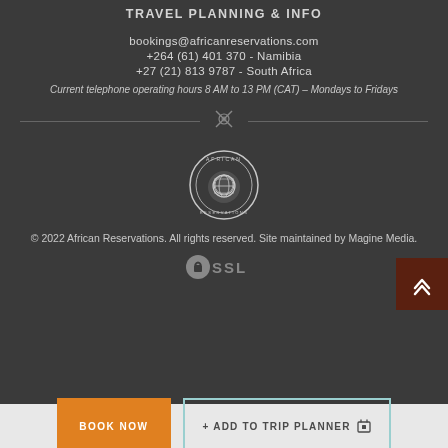TRAVEL PLANNING & INFO
bookings@africanreservations.com
+264 (61) 401 370 - Namibia
+27 (21) 813 9787 - South Africa
Current telephone operating hours 8 AM to 13 PM (CAT) – Mondays to Fridays
[Figure (logo): African Reservations circular logo with chameleon illustration]
© 2022 African Reservations. All rights reserved. Site maintained by Magine Media.
[Figure (logo): SSL security badge icon]
BOOK NOW
+ ADD TO TRIP PLANNER